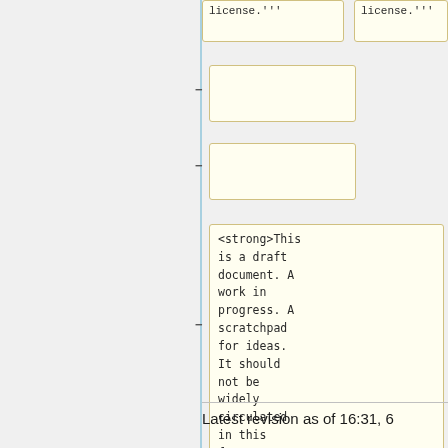license.'''
license.'''
<strong>This is a draft document. A work in progress. A scratchpad for ideas. It should not be widely circulated in this form. </strong>
Latest revision as of 16:31, 6